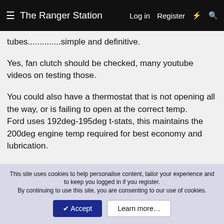The Ranger Station  Log in  Register
tubes..............simple and definitive.
Yes, fan clutch should be checked, many youtube videos on testing those.
You could also have a thermostat that is not opening all the way, or is failing to open at the correct temp.
Ford uses 192deg-195deg t-stats, this maintains the 200deg engine temp required for best economy and lubrication.
Water pump would be the last thing on the list, no real way to test these without a visual inspection and at that point you might as well change it.
With the invention of the small "snake cameras" you can
This site uses cookies to help personalise content, tailor your experience and to keep you logged in if you register.
By continuing to use this site, you are consenting to our use of cookies.